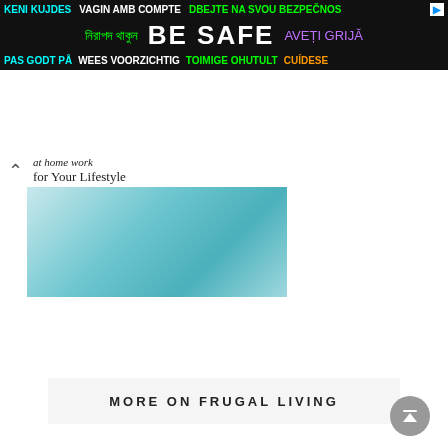[Figure (infographic): Multilingual safety advertisement banner with black background. Row 1: 'KENI KUJDES' (cyan), 'VAGIN AMB COMPTE' (white), 'DBEJTE NA SVOU BEZPECNOS' (green/bold), ad icon. Row 2: Bengali text (green), 'BE SAFE' (white large bold), 'AVETI GRIJA' (purple). Row 3: 'PAS GODT PA' (cyan), 'WEES VOORZICHTIG' (white), 'TOIMIGE OHUTULT' (green), 'CUIDESE' (orange).]
[Figure (photo): Partial article card showing a teal/turquoise couch in a light home interior, with text overlaid: 'at home work' and 'for Your Lifestyle'. A chevron-up icon is visible to the left.]
MORE ON FRUGAL LIVING
Why We Thrift + Why You Should, too! (Frugal + Sustainable Living)
[Figure (photo): Article thumbnail image with a dark blurred background showing hands, with a white overlay box reading 'why we thrift' and cursive text below reading '+ why you should too!']